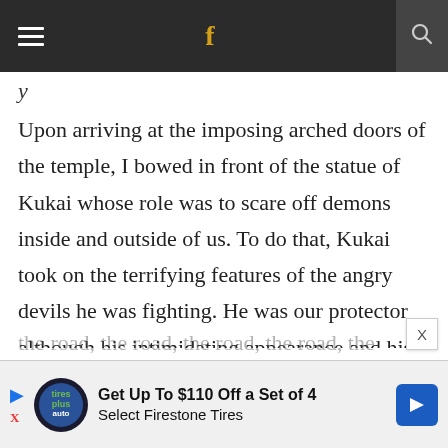Navigation bar with hamburger menu, Facebook icon, and search icon
y
Upon arriving at the imposing arched doors of the temple, I bowed in front of the statue of Kukai whose role was to scare off demons inside and outside of us. To do that, Kukai took on the terrifying features of the angry devils he was fighting. He was our protector although his intimidating appearance and his ferocious gaze were unsettling. I wanted to trust him to help me fight my dragons during the long treks. I traveled with
[Figure (other): Advertisement banner: Get Up To $110 Off a Set of 4 Select Firestone Tires with Tires Plus auto logo and directional arrow icon]